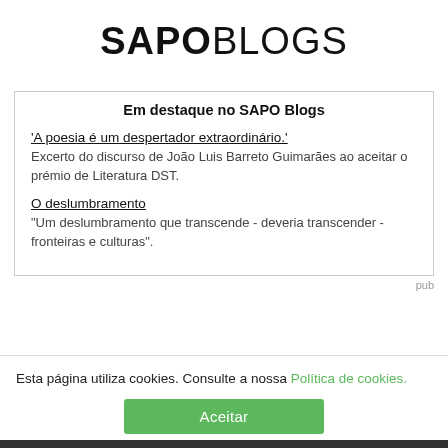SAPOBLOGS
Em destaque no SAPO Blogs
'A poesia é um despertador extraordinário.' Excerto do discurso de João Luis Barreto Guimarães ao aceitar o prémio de Literatura DST.
O deslumbramento "Um deslumbramento que transcende - deveria transcender - fronteiras e culturas".
pub
Esta página utiliza cookies. Consulte a nossa Política de cookies.